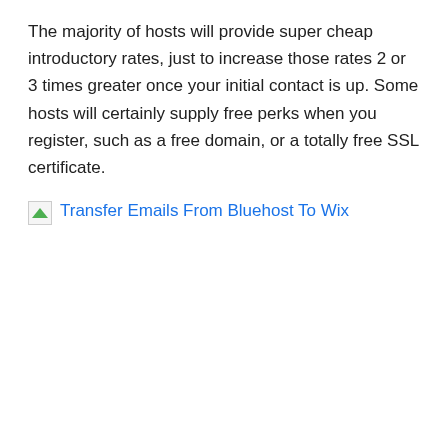The majority of hosts will provide super cheap introductory rates, just to increase those rates 2 or 3 times greater once your initial contact is up. Some hosts will certainly supply free perks when you register, such as a free domain, or a totally free SSL certificate.
[Figure (other): Broken image placeholder with link text 'Transfer Emails From Bluehost To Wix' in blue, followed by a large empty image area]
While some hosts will certainly be able to provide better performance as well as high degrees of safety.